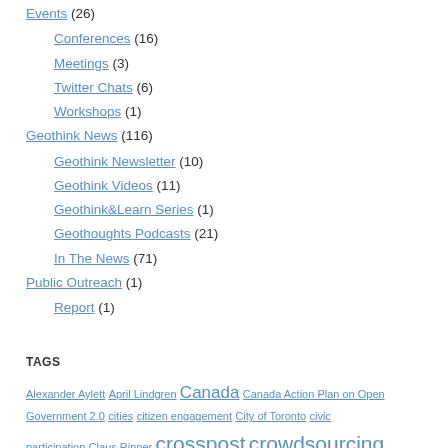Events (26)
Conferences (16)
Meetings (3)
Twitter Chats (6)
Workshops (1)
Geothink News (116)
Geothink Newsletter (10)
Geothink Videos (11)
Geothink&Learn Series (1)
Geothoughts Podcasts (21)
In The News (71)
Public Outreach (1)
Report (1)
TAGS
Alexander Aylett April Lindgren Canada Canada Action Plan on Open Government 2.0 cities citizen engagement City of Toronto civic participation Claus Rinner crosspost crowdsourcing